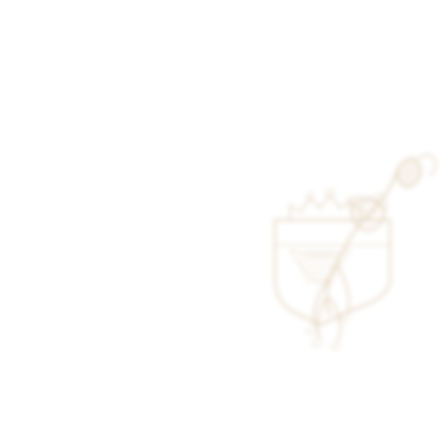[Figure (logo): Faint light beige/tan heraldic lion rampant with a shield/crest, resembling a UK government or royal coat of arms watermark logo, positioned in the center-right area of an otherwise blank white page.]